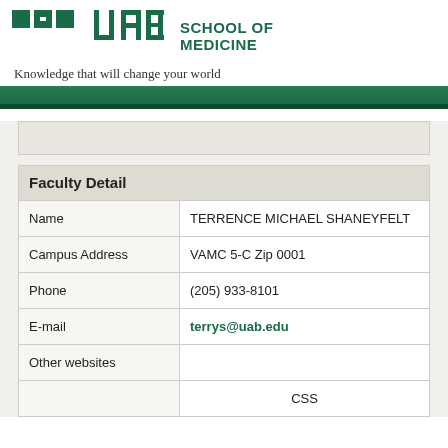[Figure (logo): UAB School of Medicine logo with green UAB block letters and school name text]
Knowledge that will change your world
| Field | Value |
| --- | --- |
| Name | TERRENCE MICHAEL SHANEYFELT |
| Campus Address | VAMC 5-C Zip 0001 |
| Phone | (205) 933-8101 |
| E-mail | terrys@uab.edu |
| Other websites |  |
|  | CSS |